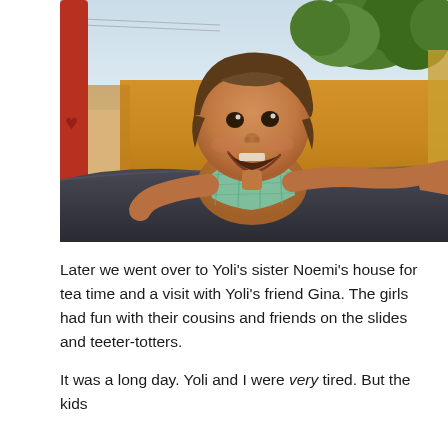[Figure (photo): A smiling young toddler girl with brown hair, wearing a light blue/green plaid top, sitting on a playground slide. She is laughing joyfully with her mouth open. Behind her is a yellow wall and trees. The slide is dark grey/black. Another person's hand is visible on the right side.]
Later we went over to Yoli's sister Noemi's house for tea time and a visit with Yoli's friend Gina. The girls had fun with their cousins and friends on the slides and teeter-totters.
It was a long day. Yoli and I were very tired. But the kids